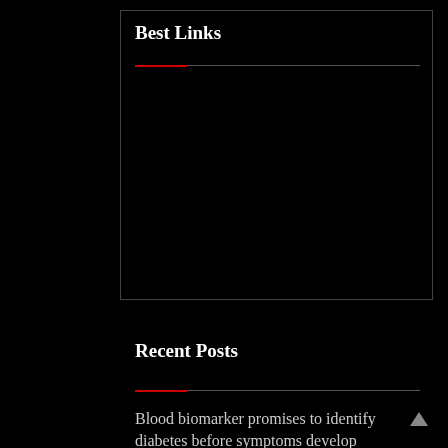Best Links
Recent Posts
Blood biomarker promises to identify diabetes before symptoms develop
Yaber puts a phone-sized pico projector in your pocket